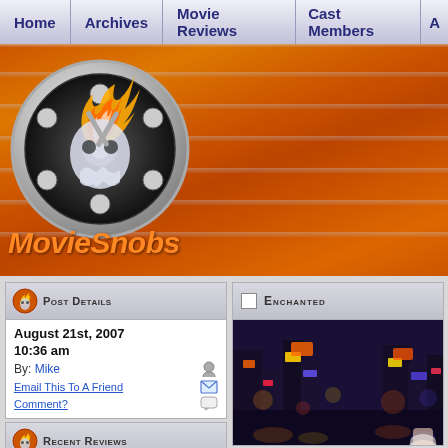Home | Archives | Movie Reviews | Cast Members | A
[Figure (logo): MovieSnobs website header with orange banner, film reel logo with flame graphic, and MovieSnobs text]
Post Details
August 21st, 2007 10:36 am
By: Mike
Email This To A Friend
Comment?
Recent Reviews
Avengers: Endgame
Transformers: Age of
Enchanted
[Figure (photo): Movie still or promotional image from Enchanted showing a city street scene at night with colorful lights]